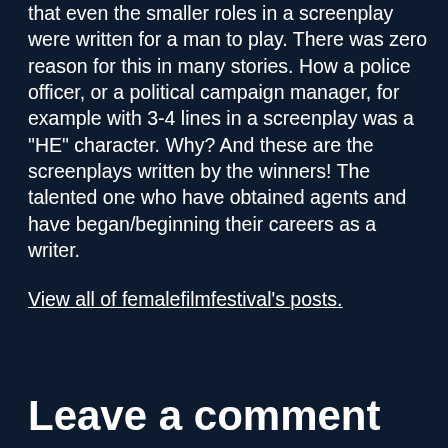that even the smaller roles in a screenplay were written for a man to play. There was zero reason for this in many stories. How a police officer, or a political campaign manager, for example with 3-4 lines in a screenplay was a "HE" character. Why? And these are the screenplays written by the winners! The talented one who have obtained agents and have began/beginning their careers as a writer.
View all of femalefilmfestival's posts.
Leave a comment